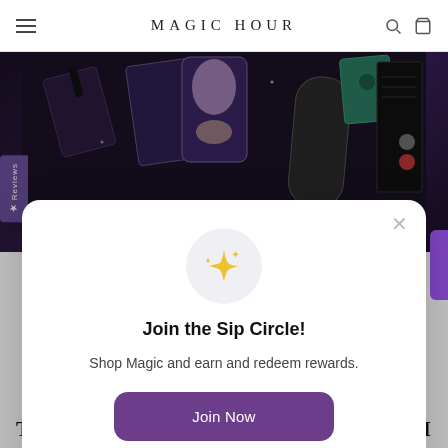MAGIC HOUR
[Figure (photo): Dark background hero image showing Magic Hour tea products including tarot cards, packaging, and accessories on a dark purple/black background]
Join the Sip Circle!
Shop Magic and earn and redeem rewards.
Join Now
Already have an account? Sign in
TEA & T  NEWA I